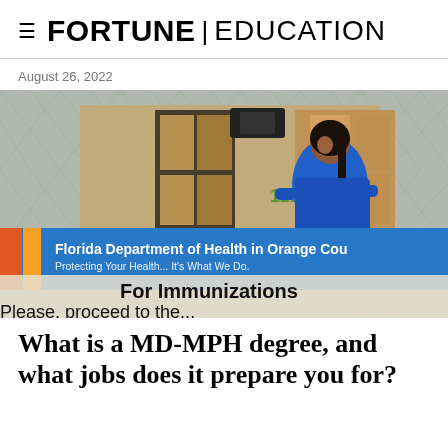FORTUNE | EDUCATION
August 26, 2022
[Figure (photo): A person in a blue shirt walks past a sign reading 'Florida Department of Health in Orange County - Protecting Your Health... It's What We Do. For Immunizations Please, proceed to the...']
What is a MD-MPH degree, and what jobs does it prepare you for?